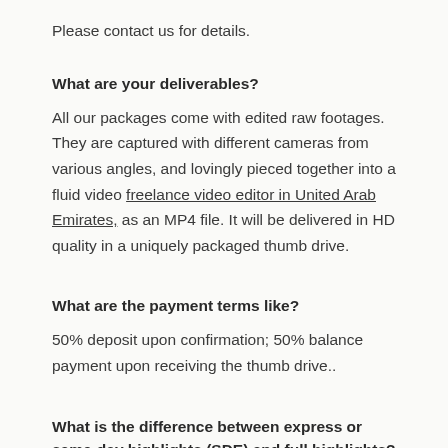Please contact us for details.
What are your deliverables?
All our packages come with edited raw footages. They are captured with different cameras from various angles, and lovingly pieced together into a fluid video freelance video editor in United Arab Emirates, as an MP4 file. It will be delivered in HD quality in a uniquely packaged thumb drive.
What are the payment terms like?
50% deposit upon confirmation; 50% balance payment upon receiving the thumb drive..
What is the difference between express or same-day highlights (SDE) and full highlights?
SDE is a short highlights video of your morning event. It may